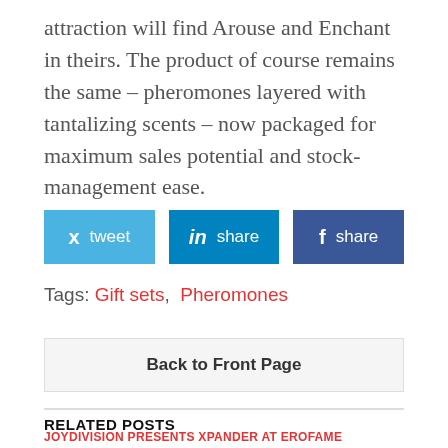attraction will find Arouse and Enchant in theirs. The product of course remains the same – pheromones layered with tantalizing scents – now packaged for maximum sales potential and stock-management ease.
[Figure (infographic): Three social sharing buttons: Twitter (tweet), LinkedIn (share), Facebook (share)]
Tags: Gift sets, Pheromones
Back to Front Page
RELATED POSTS
JOYDIVISION PRESENTS XPANDER AT EROFAME
Product News Sep 17, 2015